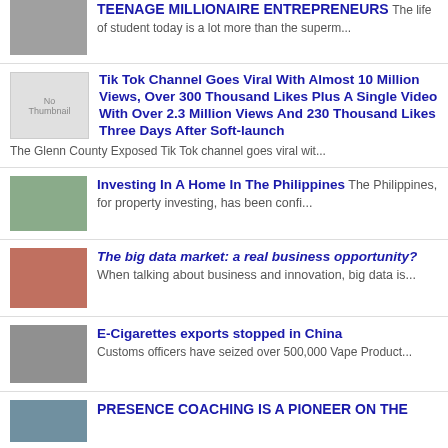[Figure (photo): Thumbnail image for teenage millionaire entrepreneurs article]
TEENAGE MILLIONAIRE ENTREPRENEURS The life of student today is a lot more than the superm...
[Figure (photo): No Thumbnail placeholder image]
Tik Tok Channel Goes Viral With Almost 10 Million Views, Over 300 Thousand Likes Plus A Single Video With Over 2.3 Million Views And 230 Thousand Likes Three Days After Soft-launch The Glenn County Exposed Tik Tok channel goes viral wit...
[Figure (photo): Thumbnail image of a house/property for Philippines article]
Investing In A Home In The Philippines The Philippines, for property investing, has been confi...
[Figure (photo): Thumbnail image of a man in red shirt for big data article]
The big data market: a real business opportunity? When talking about business and innovation, big data is...
[Figure (photo): Thumbnail image for E-Cigarettes article]
E-Cigarettes exports stopped in China Customs officers have seized over 500,000 Vape Product...
[Figure (photo): Thumbnail image for Presence Coaching article]
PRESENCE COACHING IS A PIONEER ON THE